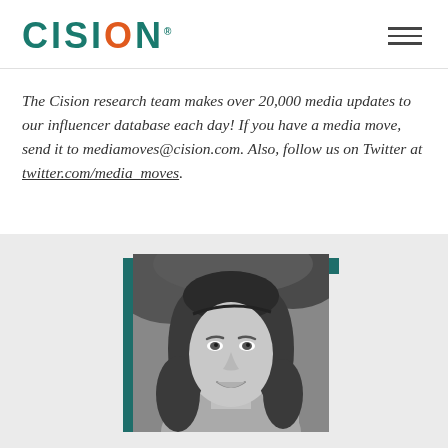CISION
The Cision research team makes over 20,000 media updates to our influencer database each day! If you have a media move, send it to mediamoves@cision.com. Also, follow us on Twitter at twitter.com/media_moves.
[Figure (photo): Black and white photo of a woman with long dark hair, smiling, with a teal/dark teal decorative border frame. Photo is shown in a light gray background section at the bottom of the page.]